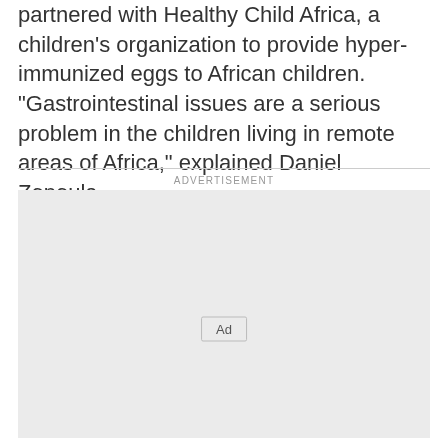partnered with Healthy Child Africa, a children's organization to provide hyper-immunized eggs to African children. “Gastrointestinal issues are a serious problem in the children living in remote areas of Africa,” explained Daniel Zopoula.
[Figure (other): Advertisement placeholder box with 'Ad' badge in center and 'ADVERTISEMENT' label above]